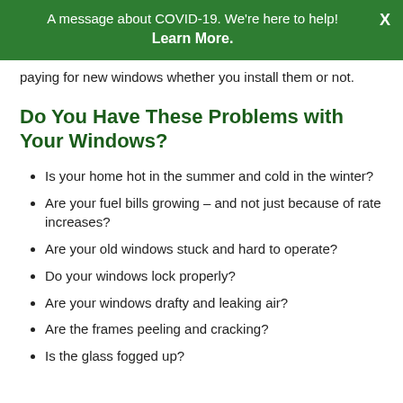A message about COVID-19. We're here to help! X
Learn More.
paying for new windows whether you install them or not.
Do You Have These Problems with Your Windows?
Is your home hot in the summer and cold in the winter?
Are your fuel bills growing – and not just because of rate increases?
Are your old windows stuck and hard to operate?
Do your windows lock properly?
Are your windows drafty and leaking air?
Are the frames peeling and cracking?
Is the glass fogged up?